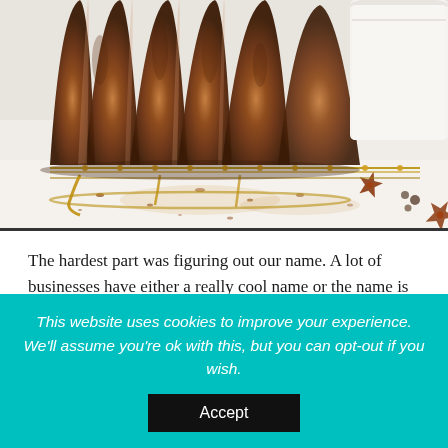[Figure (photo): Close-up photo of a bundt cake dusted with cinnamon/spices on a wire cooling rack, with star anise and spices scattered on a white surface nearby, and a white ramekin in the background.]
The hardest part was figuring out our name. A lot of businesses have either a really cool name or the name is straight to the point. We and our other sister were all talking about the name of the business, we
This website uses cookies to improve your experience. We'll assume you're ok with this, but you can opt-out if you wish.
Accept